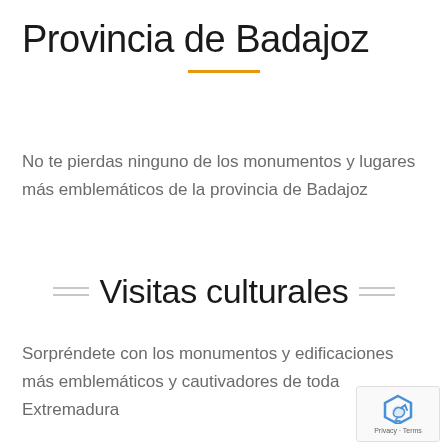Provincia de Badajoz
No te pierdas ninguno de los monumentos y lugares más emblemáticos de la provincia de Badajoz
Visitas culturales
Sorpréndete con los monumentos y edificaciones más emblemáticos y cautivadores de toda Extremadura
[Figure (logo): Google reCAPTCHA badge with Privacy and Terms links]